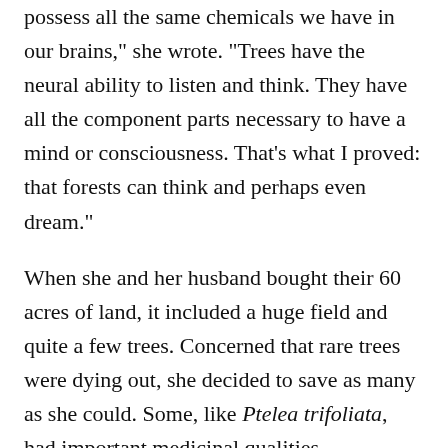possess all the same chemicals we have in our brains," she wrote. "Trees have the neural ability to listen and think. They have all the component parts necessary to have a mind or consciousness. That's what I proved: that forests can think and perhaps even dream."
When she and her husband bought their 60 acres of land, it included a huge field and quite a few trees. Concerned that rare trees were dying out, she decided to save as many as she could. Some, like Ptelea trifoliata, had important medicinal qualities.